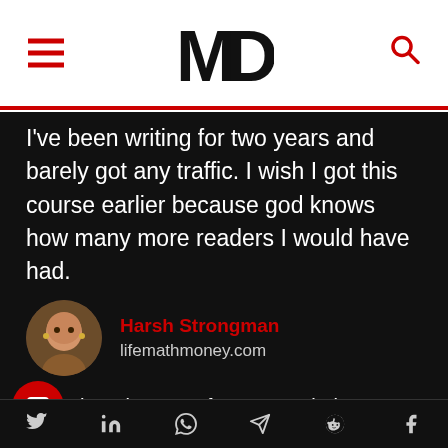[Figure (logo): MD logo with hamburger menu and search icon in white header with red bottom border]
I've been writing for two years and barely got any traffic. I wish I got this course earlier because god knows how many more readers I would have had.
Harsh Strongman
lifemathmoney.com
here is a ton of content to help you constantly get traffic to your blog. Any
Social share icons: Twitter, LinkedIn, WhatsApp, Telegram, Reddit, Facebook